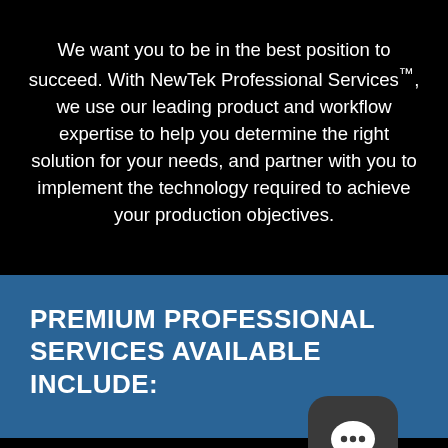We want you to be in the best position to succeed. With NewTek Professional Services™, we use our leading product and workflow expertise to help you determine the right solution for your needs, and partner with you to implement the technology required to achieve your production objectives.
PREMIUM PROFESSIONAL SERVICES AVAILABLE INCLUDE:
[Figure (illustration): Chat/messaging app icon — dark rounded square with a white speech bubble containing three dots]
Product commissioning